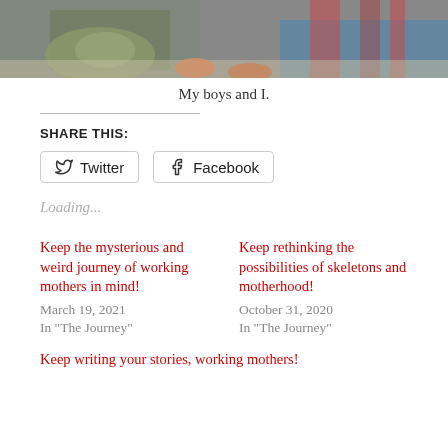[Figure (photo): Cropped photo of boys and a mother outdoors, showing partial figures in colorful clothing]
My boys and I.
SHARE THIS:
Twitter  Facebook
Loading...
Keep the mysterious and weird journey of working mothers in mind!
March 19, 2021
In "The Journey"
Keep rethinking the possibilities of skeletons and motherhood!
October 31, 2020
In "The Journey"
Keep writing your stories, working mothers!